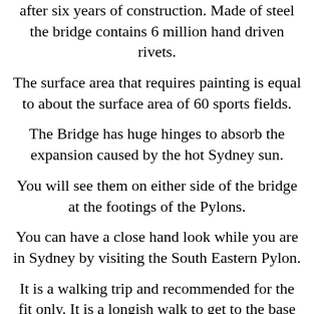after six years of construction. Made of steel the bridge contains 6 million hand driven rivets.
The surface area that requires painting is equal to about the surface area of 60 sports fields.
The Bridge has huge hinges to absorb the expansion caused by the hot Sydney sun.
You will see them on either side of the bridge at the footings of the Pylons.
You can have a close hand look while you are in Sydney by visiting the South Eastern Pylon.
It is a walking trip and recommended for the fit only. It is a longish walk to get to the base of the Pylon
and then there are 200 steps to the top.
The views and photo opportunities are fantastic. (If you